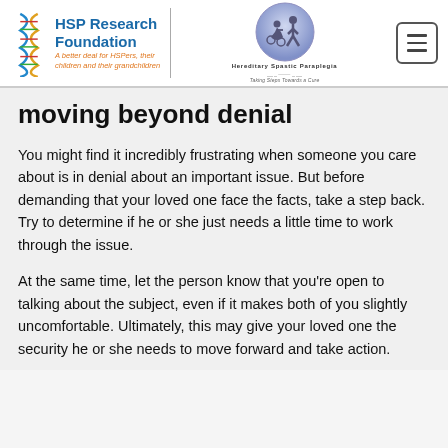HSP Research Foundation — A better deal for HSPers, their children and their grandchildren | Hereditary Spastic Paraplegia — Taking Steps Towards a Cure
moving beyond denial
You might find it incredibly frustrating when someone you care about is in denial about an important issue. But before demanding that your loved one face the facts, take a step back. Try to determine if he or she just needs a little time to work through the issue.
At the same time, let the person know that you're open to talking about the subject, even if it makes both of you slightly uncomfortable. Ultimately, this may give your loved one the security he or she needs to move forward and take action.